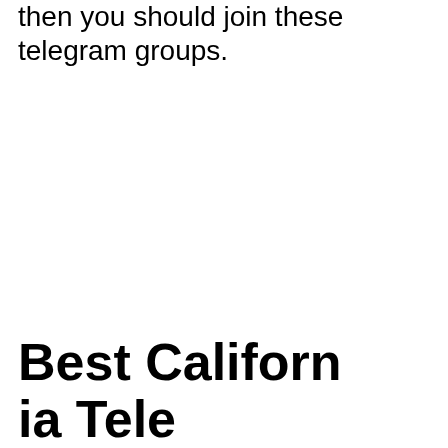then you should join these telegram groups.
Best California Tele...